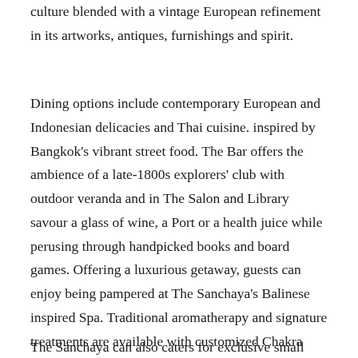culture blended with a vintage European refinement in its artworks, antiques, furnishings and spirit.
Dining options include contemporary European and Indonesian delicacies and Thai cuisine. inspired by Bangkok's vibrant street food. The Bar offers the ambience of a late-1800s explorers' club with outdoor veranda and in The Salon and Library savour a glass of wine, a Port or a health juice while perusing through handpicked books and board games. Offering a luxurious getaway, guests can enjoy being pampered at The Sanchaya's Balinese inspired Spa. Traditional aromatherapy and signature treatments are available with customized Chakra oils, herbal teas and the exceptional Kawasaki Way Treatment.
The Sanchaya can also caters for exclusive small and